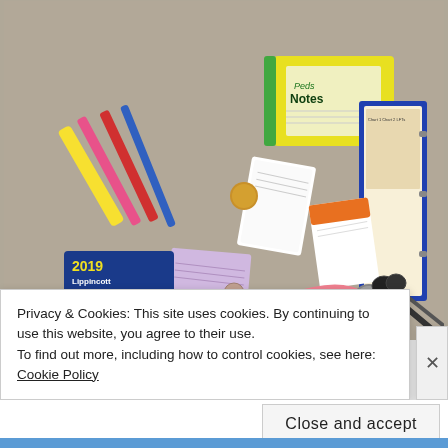[Figure (photo): Overhead photo of nursing supplies laid out on a carpet: pens and highlighters, a yellow 'Peds Notes' spiral notebook, a blue medical reference binder with anatomical charts, a '2019 Lippincott Pocket Drug Guide for Nurses' book, pink stethoscope, scissors, coins, small medication cards and reference cards.]
Privacy & Cookies: This site uses cookies. By continuing to use this website, you agree to their use.
To find out more, including how to control cookies, see here: Cookie Policy
Close and accept